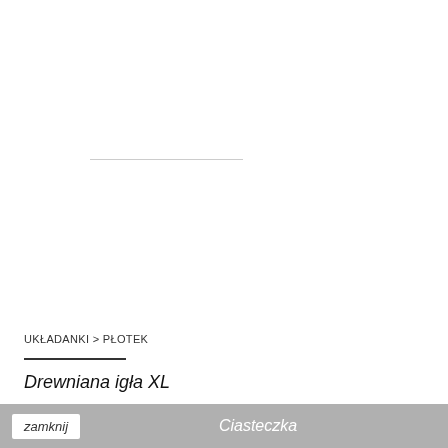[Figure (other): White product image area with a faint horizontal line across the middle, likely an image loading placeholder]
UKŁADANKI > PŁOTEK
Drewniana igła XL
56 PLN
zamknij   Ciasteczka